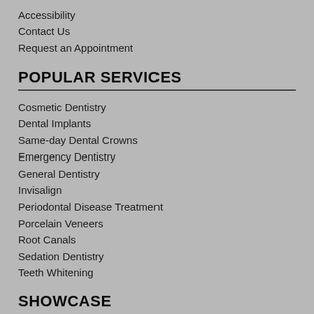Accessibility
Contact Us
Request an Appointment
POPULAR SERVICES
Cosmetic Dentistry
Dental Implants
Same-day Dental Crowns
Emergency Dentistry
General Dentistry
Invisalign
Periodontal Disease Treatment
Porcelain Veneers
Root Canals
Sedation Dentistry
Teeth Whitening
SHOWCASE